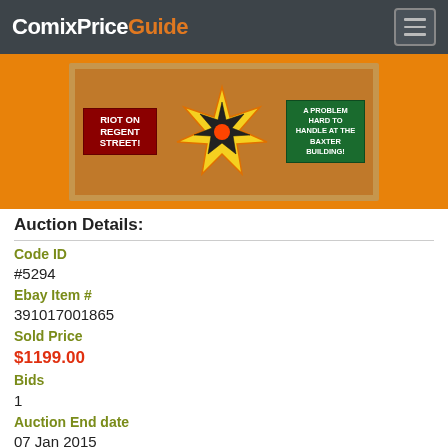ComixPriceGuide
[Figure (photo): Comic book in protective case showing 'Riot on Regent Street!' and 'Baxter Building!' text with colorful action artwork]
Auction Details:
| Code ID | #5294 |
| Ebay Item # | 391017001865 |
| Sold Price | $1199.00 |
| Bids | 1 |
| Auction End date | 07 Jan 2015 |